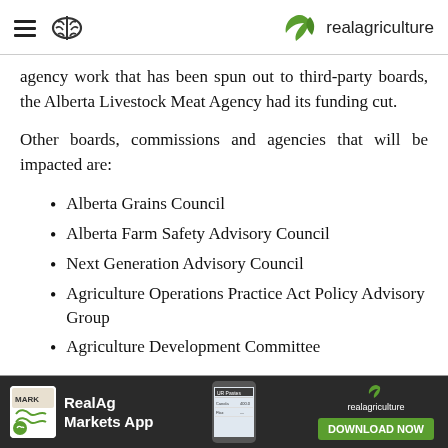realagriculture
agency work that has been spun out to third-party boards, the Alberta Livestock Meat Agency had its funding cut.
Other boards, commissions and agencies that will be impacted are:
Alberta Grains Council
Alberta Farm Safety Advisory Council
Next Generation Advisory Council
Agriculture Operations Practice Act Policy Advisory Group
Agriculture Development Committee
[Figure (screenshot): RealAg Markets App advertisement banner with app icon, phone screenshot, and Download Now button on dark background]